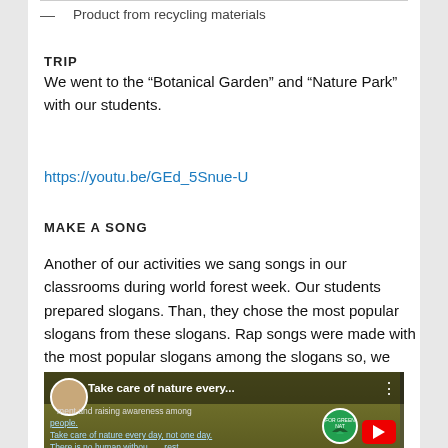— Product from recycling materials
TRIP
We went to the “Botanical Garden” and “Nature Park” with our students.
https://youtu.be/GEd_5Snue-U
MAKE A SONG
Another of our activities we sang songs in our classrooms during world forest week. Our students prepared slogans. Than, they chose the most popular slogans from these slogans. Rap songs were made with the most popular slogans among the slogans so, we created a collaborative product with the web2.0 tool.
[Figure (screenshot): YouTube video thumbnail showing 'Take care of nature every...' with an avatar, subtitles about environment and nature awareness, a red play button, and a green team logo]